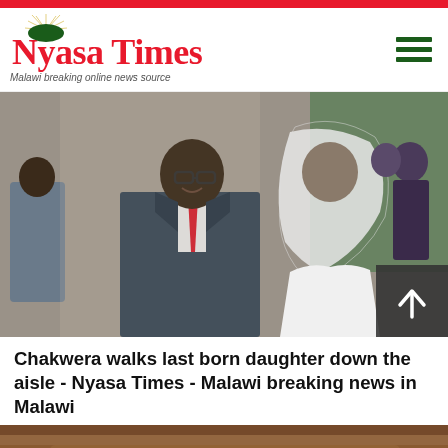Nyasa Times - Malawi breaking online news source
[Figure (photo): A man in a dark suit with a red tie smiling, walking beside a woman in a white bridal veil and wedding dress. Other attendees visible in the background at what appears to be a wedding ceremony.]
Chakwera walks last born daughter down the aisle - Nyasa Times - Malawi breaking news in Malawi
[Figure (photo): Close-up photo showing what appears to be hands or skin texture, possibly jewelry related to the wedding story.]